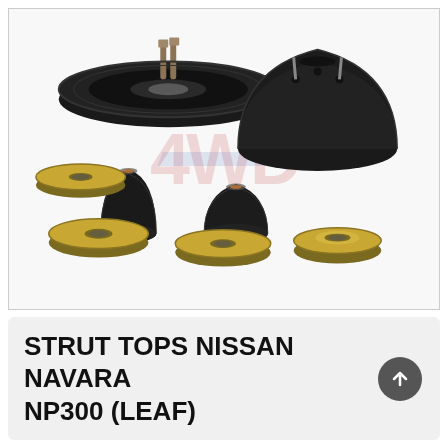[Figure (photo): Product photo of strut top mount kit for Nissan Navara NP300 (Leaf), showing two black rubber strut top mounts, two black rubber bump stop bushings, and three gold/zinc-plated metal washers/plates, arranged on a white background with a faint 4WD watermark logo]
STRUT TOPS NISSAN NAVARA NP300 (LEAF)